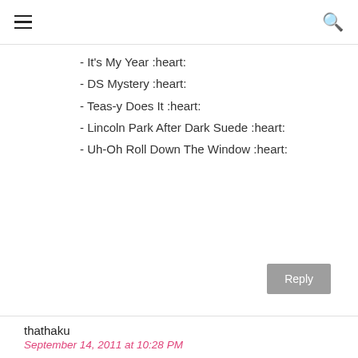☰ 🔍
- It's My Year :heart:
- DS Mystery :heart:
- Teas-y Does It :heart:
- Lincoln Park After Dark Suede :heart:
- Uh-Oh Roll Down The Window :heart:
Reply
thathaku
September 14, 2011 at 10:28 PM
Google Friend Connect ID = Martha Angela